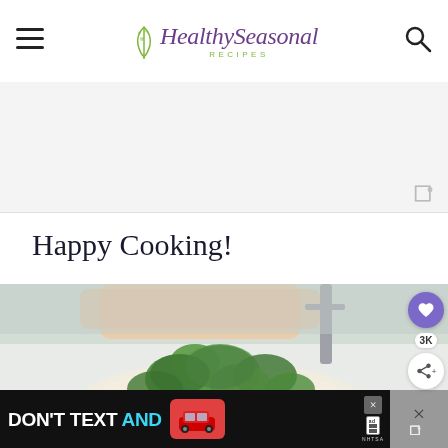Healthy Seasonal Recipes
[Figure (photo): Gray rectangular ad placeholder area with Mediavine icon in bottom right]
Happy Cooking!
[Figure (photo): Video thumbnail showing hands placing broccoli into a bowl of sauce, with text overlay 'broccoli'. Side action buttons: heart icon, 3K count, share button. Below: DON'T TEXT AND drive safety advertisement.]